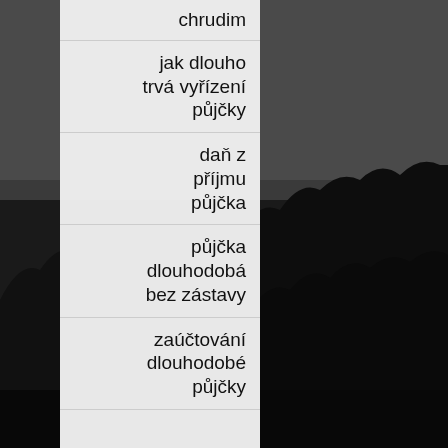[Figure (photo): Dark nighttime or dusk outdoor photograph showing silhouettes of trees against a dark grey sky, occupying the full page background.]
chrudim
jak dlouho trvá vyřízení půjčky
daň z příjmu půjčka
půjčka dlouhodobá bez zástavy
zaúčtování dlouhodobé půjčky